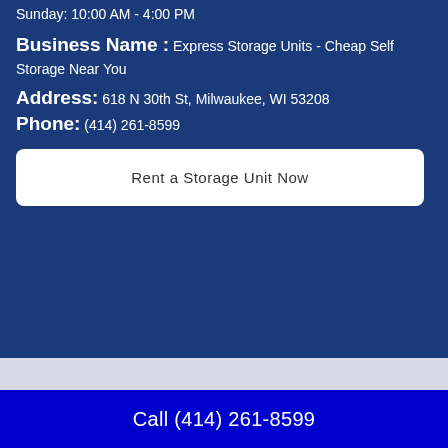Sunday: 10:00 AM - 4:00 PM
Business Name : Express Storage Units - Cheap Self Storage Near You
Address: 618 N 30th St, Milwaukee, WI 53208
Phone: (414) 261-8599
Rent a Storage Unit Now
Call (414) 261-8599